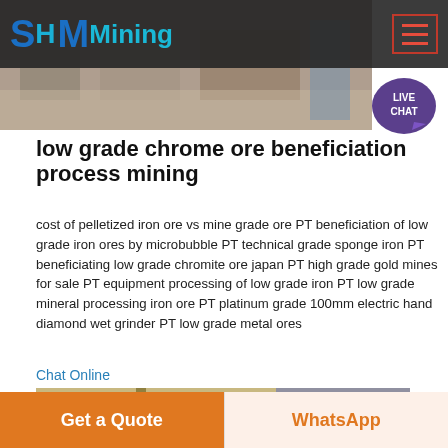SH MMining
[Figure (photo): Mining/construction site aerial view showing industrial equipment and machinery]
[Figure (other): Live Chat speech bubble icon in purple]
low grade chrome ore beneficiation process mining
cost of pelletized iron ore vs mine grade ore PT beneficiation of low grade iron ores by microbubble PT technical grade sponge iron PT beneficiating low grade chromite ore japan PT high grade gold mines for sale PT equipment processing of low grade iron PT low grade mineral processing iron ore PT platinum grade 100mm electric hand diamond wet grinder PT low grade metal ores
Chat Online
[Figure (photo): Industrial mining conveyor/bridge structure with yellow metal framework against sky]
Get a Quote
WhatsApp